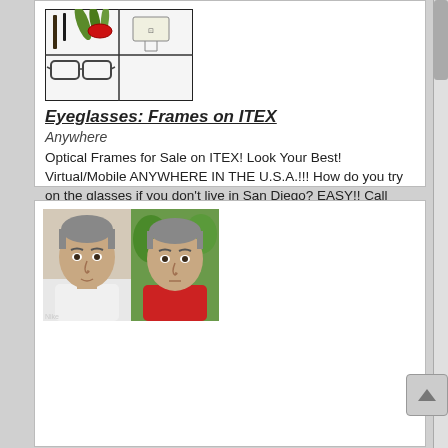[Figure (photo): Photo of eyeglasses frames arranged on white background with black border]
Eyeglasses: Frames on ITEX
Anywhere
Optical Frames for Sale on ITEX! Look Your Best! Virtual/Mobile ANYWHERE IN THE U.S.A.!!! How do you try on the glasses if you don't live in San Diego? EASY!! Call Helmut Igel to set up a phone a ... more
10 @ Varies
[Figure (photo): Two side-by-side photos of a middle-aged man with gray hair, one in white shirt and one in red shirt]